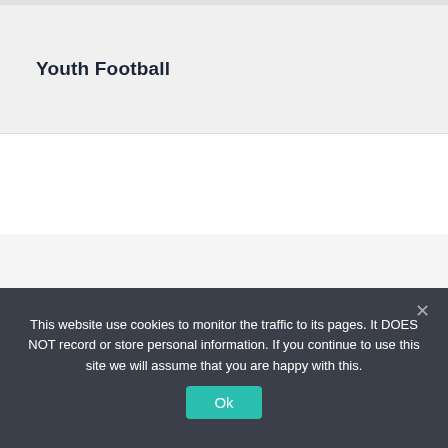Youth Football
CONTACT
Lions Clubs Ireland – District 133
Clifton House
Lower Fitzwilliam Street
This website use cookies to monitor the traffic to its pages. It DOES NOT record or store personal information. If you continue to use this site we will assume that you are happy with this.